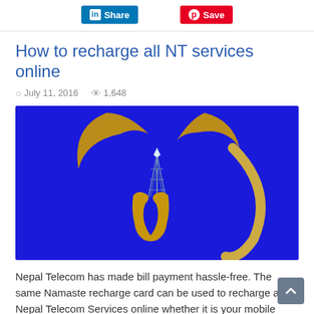Share | Save
How to recharge all NT services online
July 11, 2016  1,648
[Figure (photo): Nepal Telecom logo on a blue background featuring a golden stylized figure/antenna symbol (Namaste logo)]
Nepal Telecom has made bill payment hassle-free. The same Namaste recharge card can be used to recharge all Nepal Telecom Services online whether it is your mobile service, ADSL or Landline service. You don't need to queue up in a line for bill payment anymore. NT recharge card function as a single billing platform for